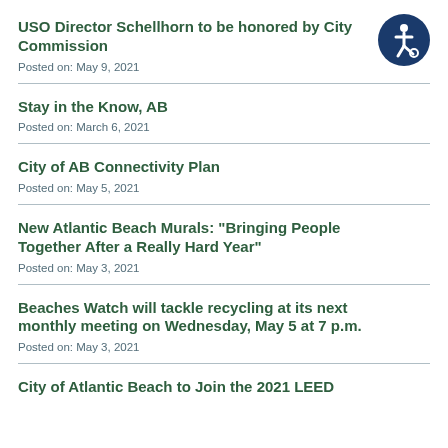USO Director Schellhorn to be honored by City Commission
Posted on: May 9, 2021
Stay in the Know, AB
Posted on: March 6, 2021
City of AB Connectivity Plan
Posted on: May 5, 2021
New Atlantic Beach Murals: "Bringing People Together After a Really Hard Year"
Posted on: May 3, 2021
Beaches Watch will tackle recycling at its next monthly meeting on Wednesday, May 5 at 7 p.m.
Posted on: May 3, 2021
City of Atlantic Beach to Join the 2021 LEED